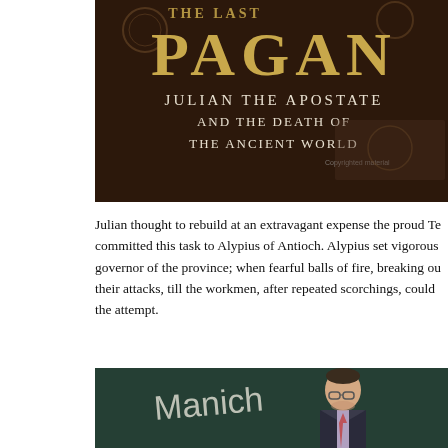[Figure (photo): Book cover of 'The Last Pagan: Julian the Apostate and the Death of the Ancient World' — dark brown textured background with large golden text reading PAGAN, subtitle in white text.]
Julian thought to rebuild at an extravagant expense the proud Te committed this task to Alypius of Antioch. Alypius set vigorous governor of the province; when fearful balls of fire, breaking ou their attacks, till the workmen, after repeated scorchings, could the attempt.
[Figure (photo): Photograph of a man in a suit standing in front of a chalkboard with the word 'Manich' partially visible written in chalk.]